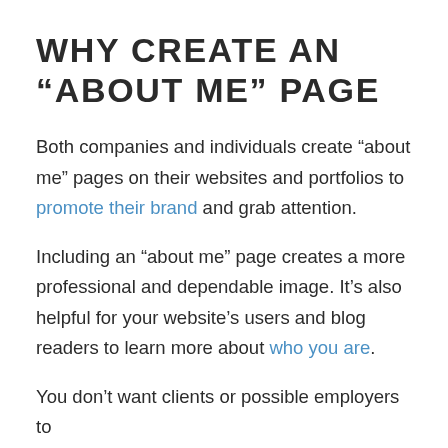WHY CREATE AN “ABOUT ME” PAGE
Both companies and individuals create “about me” pages on their websites and portfolios to promote their brand and grab attention.
Including an “about me” page creates a more professional and dependable image. It’s also helpful for your website’s users and blog readers to learn more about who you are.
You don’t want clients or possible employers to